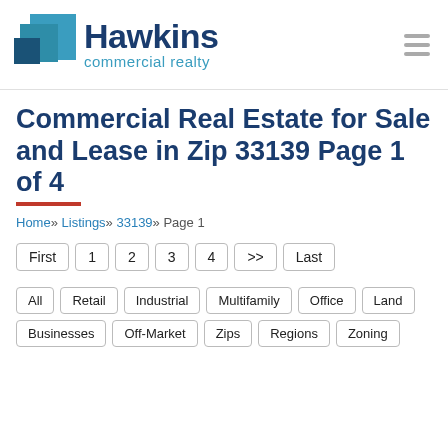[Figure (logo): Hawkins Commercial Realty logo with teal/blue stacked square icon, company name in dark navy, and tagline 'commercial realty' in teal]
Commercial Real Estate for Sale and Lease in Zip 33139 Page 1 of 4
Home » Listings » 33139 » Page 1
First | 1 | 2 | 3 | 4 | >> | Last
All | Retail | Industrial | Multifamily | Office | Land | Businesses | Off-Market | Zips | Regions | Zoning